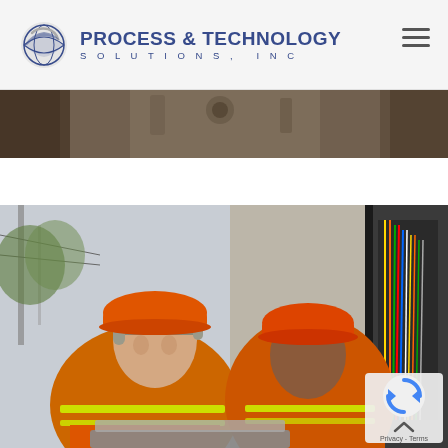[Figure (logo): Process & Technology Solutions, Inc. company logo with globe icon and text]
[Figure (photo): Dark brown/sepia partial photo strip visible at top of page content area, appears to be industrial equipment]
[Figure (photo): Two workers in orange hard hats and safety vests looking at a laptop in front of an electrical cabinet with wiring]